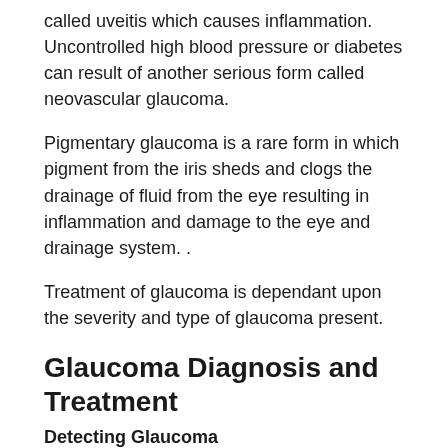called uveitis which causes inflammation. Uncontrolled high blood pressure or diabetes can result of another serious form called neovascular glaucoma.
Pigmentary glaucoma is a rare form in which pigment from the iris sheds and clogs the drainage of fluid from the eye resulting in inflammation and damage to the eye and drainage system. .
Treatment of glaucoma is dependant upon the severity and type of glaucoma present.
Glaucoma Diagnosis and Treatment
Detecting Glaucoma